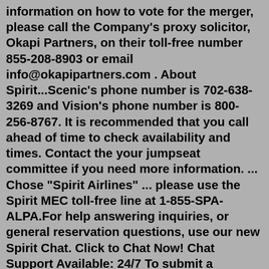information on how to vote for the merger, please call the Company's proxy solicitor, Okapi Partners, on their toll-free number 855-208-8903 or email info@okapipartners.com . About Spirit...Scenic's phone number is 702-638-3269 and Vision's phone number is 800-256-8767. It is recommended that you call ahead of time to check availability and times. Contact the your jumpseat committee if you need more information. ... Chose "Spirit Airlines" ... please use the Spirit MEC toll-free line at 1-855-SPA-ALPA.For help answering inquiries, or general reservation questions, use our new Spirit Chat. Click to Chat Now! Chat Support Available: 24/7 To submit a compliment or a complaint, click here to send us an email and we'll get back to you as soon as possible. You may also send us a complaint by mail to: Spirit Airlines 2800 Executive Way If you need assistance with modifying or canceling your reservation, using a reservation credit or travel voucher, or other general inquiries, please contact Spirit Sales and Guest Services directly Toll-Free at 1-855-SAVE-555 (1-855-